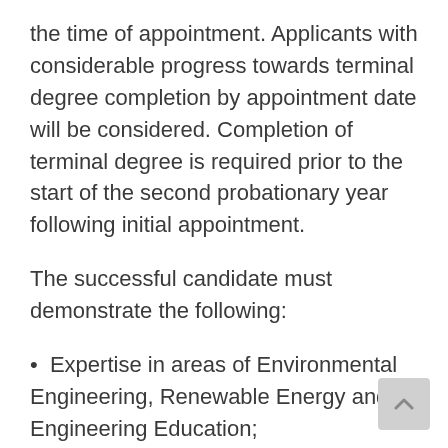the time of appointment. Applicants with considerable progress towards terminal degree completion by appointment date will be considered. Completion of terminal degree is required prior to the start of the second probationary year following initial appointment.
The successful candidate must demonstrate the following:
Expertise in areas of Environmental Engineering, Renewable Energy and/or Engineering Education;
Commitment to and/or experience